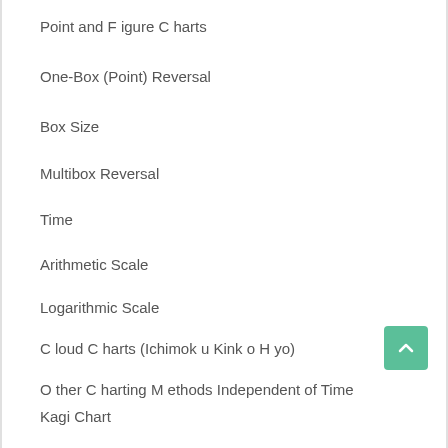Point and Figure Charts
One-Box (Point) Reversal
Box Size
Multibox Reversal
Time
Arithmetic Scale
Logarithmic Scale
Cloud Charts (Ichimoku Kinko Hyo)
Other Charting Methods Independent of Time
Kagi Chart
Renko Chart
Line-Break Chart (2 or 3 Lines)
Conclusion